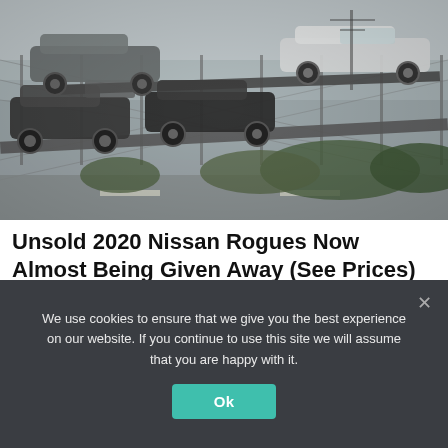[Figure (photo): Car carrier truck transporting multiple Nissan Rogue SUVs on an elevated auto transport trailer, photographed near a chain-link fence with industrial background and overcast sky.]
Unsold 2020 Nissan Rogues Now Almost Being Given Away (See Prices)
Nissan Rogue | Sponsored
We use cookies to ensure that we give you the best experience on our website. If you continue to use this site we will assume that you are happy with it.